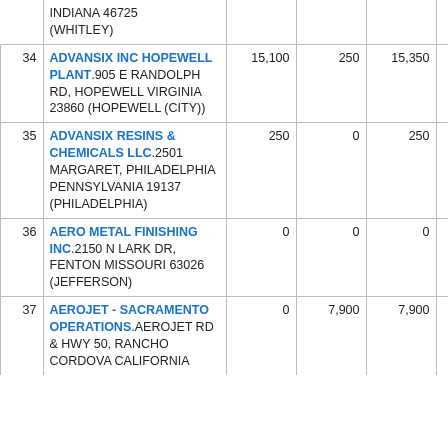| # | Facility | Col3 | Col4 | Col5 | Col6 |
| --- | --- | --- | --- | --- | --- |
|  | INDIANA 46725 (WHITLEY) |  |  |  |  |
| 34 | ADVANSIX INC HOPEWELL PLANT.905 E RANDOLPH RD, HOPEWELL VIRGINIA 23860 (HOPEWELL (CITY)) | 15,100 | 250 | 15,350 | 5,750 |
| 35 | ADVANSIX RESINS & CHEMICALS LLC.2501 MARGARET, PHILADELPHIA PENNSYLVANIA 19137 (PHILADELPHIA) | 250 | 0 | 250 | 0 |
| 36 | AERO METAL FINISHING INC.2150 N LARK DR, FENTON MISSOURI 63026 (JEFFERSON) | 0 | 0 | 0 | 0 |
| 37 | AEROJET - SACRAMENTO OPERATIONS.AEROJET RD & HWY 50, RANCHO CORDOVA CALIFORNIA | 0 | 7,900 | 7,900 | 0 |